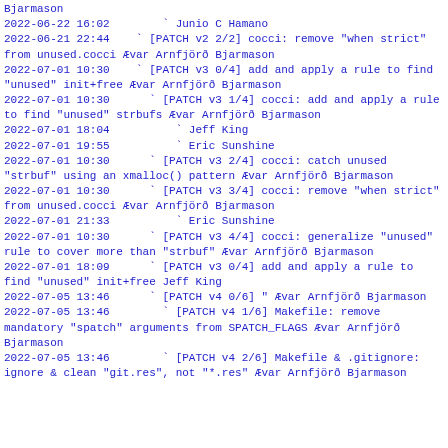Bjarmason
2022-06-22 16:02        ` Junio C Hamano
2022-06-21 22:44    ` [PATCH v2 2/2] cocci: remove "when strict" from unused.cocci Ævar Arnfjörð Bjarmason
2022-07-01 10:30    ` [PATCH v3 0/4] add and apply a rule to find "unused" init+free Ævar Arnfjörð Bjarmason
2022-07-01 10:30      ` [PATCH v3 1/4] cocci: add and apply a rule to find "unused" strbufs Ævar Arnfjörð Bjarmason
2022-07-01 18:04          ` Jeff King
2022-07-01 19:55          ` Eric Sunshine
2022-07-01 10:30      ` [PATCH v3 2/4] cocci: catch unused "strbuf" using an xmalloc() pattern Ævar Arnfjörð Bjarmason
2022-07-01 10:30      ` [PATCH v3 3/4] cocci: remove "when strict" from unused.cocci Ævar Arnfjörð Bjarmason
2022-07-01 21:33          ` Eric Sunshine
2022-07-01 10:30      ` [PATCH v3 4/4] cocci: generalize "unused" rule to cover more than "strbuf" Ævar Arnfjörð Bjarmason
2022-07-01 18:09      ` [PATCH v3 0/4] add and apply a rule to find "unused" init+free Jeff King
2022-07-05 13:46      ` [PATCH v4 0/6] " Ævar Arnfjörð Bjarmason
2022-07-05 13:46        ` [PATCH v4 1/6] Makefile: remove mandatory "spatch" arguments from SPATCH_FLAGS Ævar Arnfjörð Bjarmason
2022-07-05 13:46        ` [PATCH v4 2/6] Makefile & .gitignore: ignore & clean "git.res", not "*.res" Ævar Arnfjörð Bjarmason